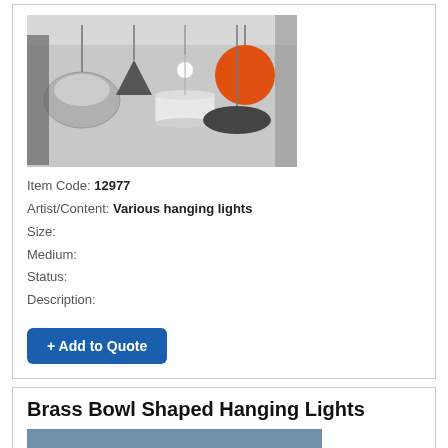[Figure (photo): Photo of various hanging lights from ceiling in a shop or store, showing multiple pendant lamps of different styles including globe, conical, and drum shades.]
Item Code: 12977
Artist/Content: Various hanging lights
Size:
Medium:
Status:
Description:
+ Add to Quote
Brass Bowl Shaped Hanging Lights
[Figure (photo): Photo of brass bowl shaped hanging lights mounted on a red/copper pipe rail against a light background.]